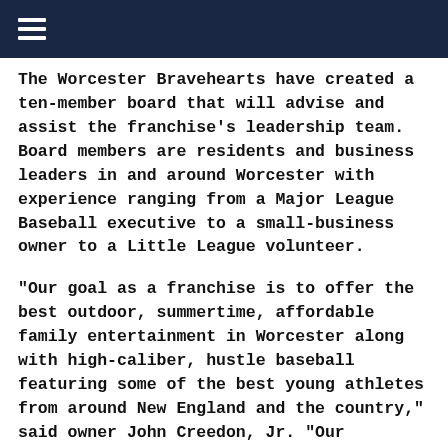≡
The Worcester Bravehearts have created a ten-member board that will advise and assist the franchise's leadership team. Board members are residents and business leaders in and around Worcester with experience ranging from a Major League Baseball executive to a small-business owner to a Little League volunteer.
“Our goal as a franchise is to offer the best outdoor, summertime, affordable family entertainment in Worcester along with high-caliber, hustle baseball featuring some of the best young athletes from around New England and the country,” said owner John Creedon, Jr. “Our advisory board will be instrumental in helping us to accomplish that goal. We’re delighted with the people who have stepped up to participate in this group and envision them